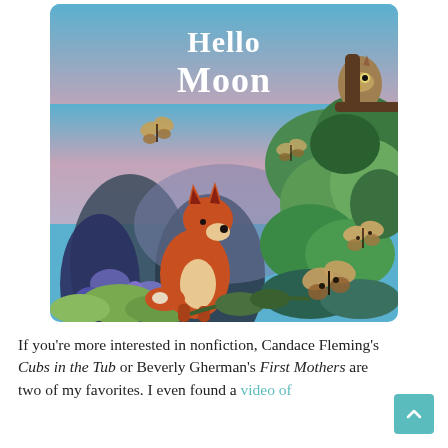[Figure (illustration): Book cover for 'Hello Moon' featuring a fox looking upward surrounded by lush illustrated foliage, butterflies, and an owl in a tree, with a twilight sky background. The title 'Hello Moon' is in large white text at the top.]
If you're more interested in nonfiction, Candace Fleming's Cubs in the Tub or Beverly Gherman's First Mothers are two of my favorites. I even found a video of